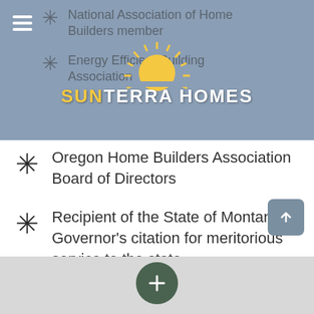[Figure (logo): SunTerra Homes logo with sun graphic, overlaid on slate blue header]
National Association of Home Builders member
Energy Efficient Building Association
Oregon Home Builders Association Board of Directors
Recipient of the State of Montana Governor's citation for meritorious service to the state
[Figure (other): Dark green footer bar with scroll-to-top button and plus button UI elements]